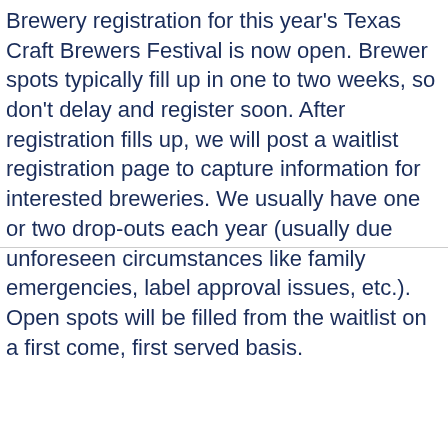Brewery registration for this year's Texas Craft Brewers Festival is now open. Brewer spots typically fill up in one to two weeks, so don't delay and register soon. After registration fills up, we will post a waitlist registration page to capture information for interested breweries. We usually have one or two drop-outs each year (usually due unforeseen circumstances like family emergencies, label approval issues, etc.). Open spots will be filled from the waitlist on a first come, first served basis.